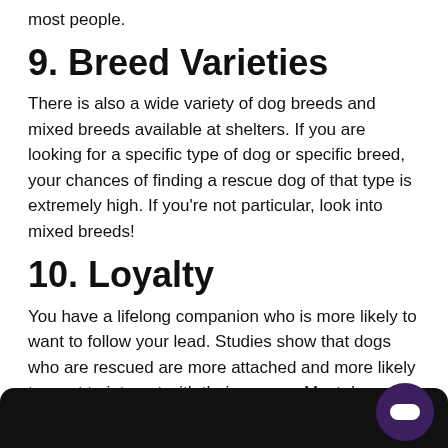most people.
9. Breed Varieties
There is also a wide variety of dog breeds and mixed breeds available at shelters. If you are looking for a specific type of dog or specific breed, your chances of finding a rescue dog of that type is extremely high. If you're not particular, look into mixed breeds!
10. Loyalty
You have a lifelong companion who is more likely to want to follow your lead. Studies show that dogs who are rescued are more attached and more likely to want to interact with their owners. Most dogs understand the concept of affection and just as you become attached to them, they will a